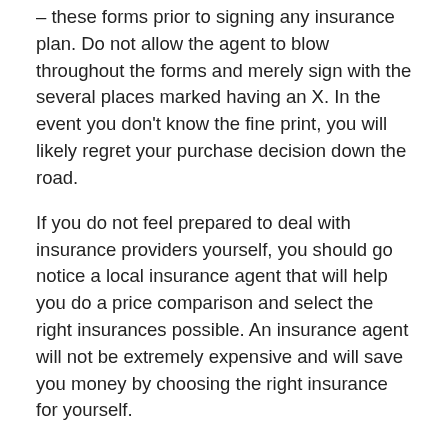– these forms prior to signing any insurance plan. Do not allow the agent to blow throughout the forms and merely sign with the several places marked having an X. In the event you don't know the fine print, you will likely regret your purchase decision down the road.
If you do not feel prepared to deal with insurance providers yourself, you should go notice a local insurance agent that will help you do a price comparison and select the right insurances possible. An insurance agent will not be extremely expensive and will save you money by choosing the right insurance for yourself.
You've probably heard the words about quarter-hour could help you save 15%, but you might find that by spending just a couple of minutes on the telephone with your current insurance carrier may also save some costs. Once your insurance plan is nearing the expiration date, call your insurance carrier and get insurance – general them for any re-quote on your own policy. They may